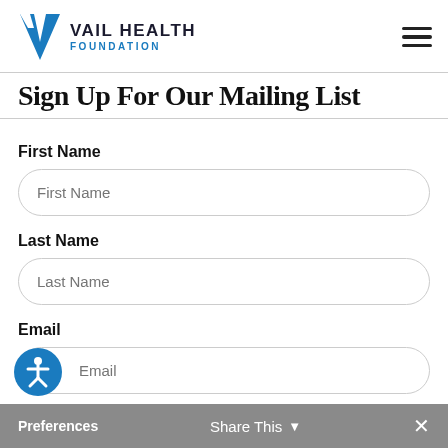VAIL HEALTH FOUNDATION
Sign Up For Our Mailing List
First Name
First Name (input placeholder)
Last Name
Last Name (input placeholder)
Email
Email (input placeholder)
Preferences
Share This
Preferences  Share This  ×